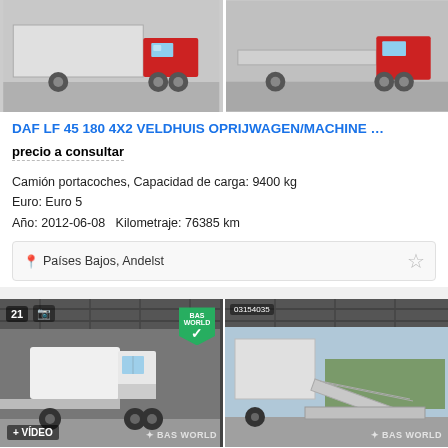[Figure (photo): Two photos of a DAF LF truck with flatbed/machine transport body, side views in parking area]
DAF LF 45 180 4X2 VELDHUIS OPRIJWAGEN/MACHINE …
precio a consultar
Camión portacoches, Capacidad de carga: 9400 kg
Euro: Euro 5
Año: 2012-06-08   Kilometraje: 76385 km
Países Bajos, Andelst
[Figure (photo): Two photos of a white DAF XF truck with lowbed/ramp trailer, showing vehicle with ramp extended. Badges: 21 photos, BAS World verified badge, + VIDEO label, BAS WORLD watermark]